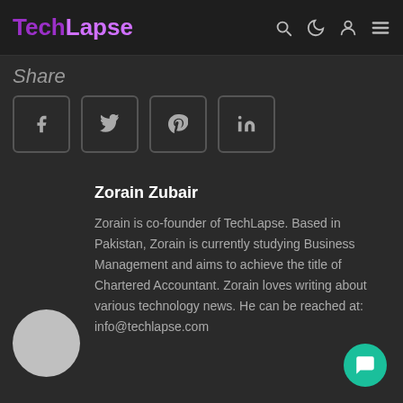TechLapse
Share
[Figure (illustration): Social share buttons: Facebook, Twitter, Pinterest, LinkedIn]
Zorain Zubair
Zorain is co-founder of TechLapse. Based in Pakistan, Zorain is currently studying Business Management and aims to achieve the title of Chartered Accountant. Zorain loves writing about various technology news. He can be reached at: info@techlapse.com